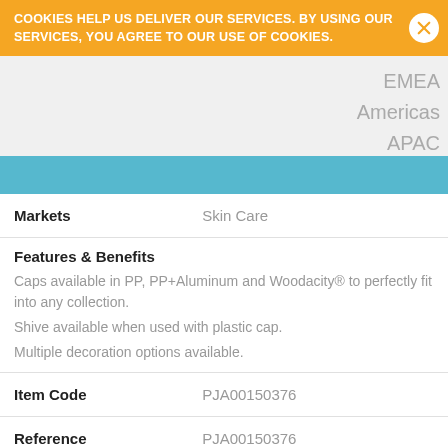COOKIES HELP US DELIVER OUR SERVICES. BY USING OUR SERVICES, YOU AGREE TO OUR USE OF COOKIES.
EMEA
Americas
APAC
| Markets | Skin Care |
| Features & Benefits
Caps available in PP, PP+Aluminum and Woodacity® to perfectly fit into any collection.
Shive available when used with plastic cap.
Multiple decoration options available. |  |
| Item Code | PJA00150376 |
| Reference | PJA00150376 |
| Product Line | Q-Selection |